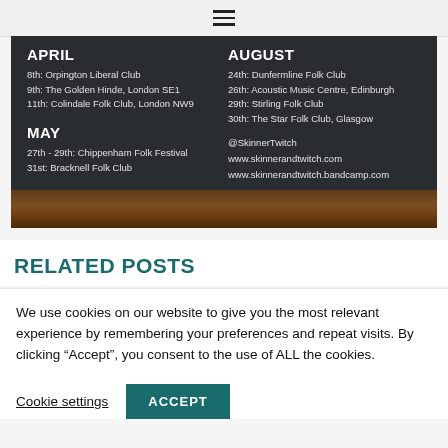[Figure (other): Tour dates poster with dark background. Left column: APRIL heading with events: 8th Orpington Liberal Club, 9th The Golden Hinde London SE1, 11th Colindale Folk Club London NW9. MAY heading with events: 27th-29th Chippenham Folk Festival, 31st Bracknell Folk Club. Right column: AUGUST heading with events: 24th Dunfermline Folk Club, 26th Acoustic Music Centre Edinburgh, 29th Stirling Folk Club, 30th The Star Folk Club Glasgow. Social links: @SkinnerTwitch, www.skinnerandtwitch.com, www.skinnerandtwitch.bandcamp.com. Bottom shows a wooden surface.]
RELATED POSTS
We use cookies on our website to give you the most relevant experience by remembering your preferences and repeat visits. By clicking “Accept”, you consent to the use of ALL the cookies.
Cookie settings
ACCEPT